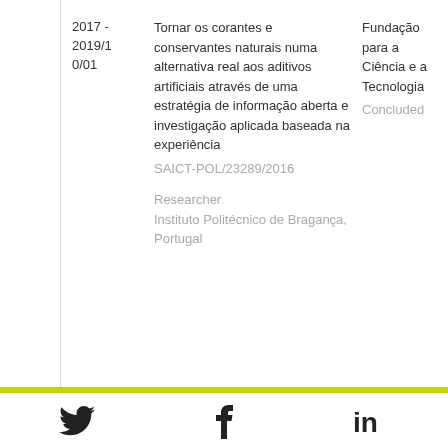| Date | Title / Code / Role | Funder |
| --- | --- | --- |
| 2017 - 2019/10/01 | Tornar os corantes e conservantes naturais numa alternativa real aos aditivos artificiais através de uma estratégia de informação aberta e investigação aplicada baseada na experiência
SAICT-POL/23289/2016

Researcher
Instituto Politécnico de Bragança, Portugal | Fundação para a Ciência e a Tecnologia
Concluded |
Twitter | Facebook | LinkedIn